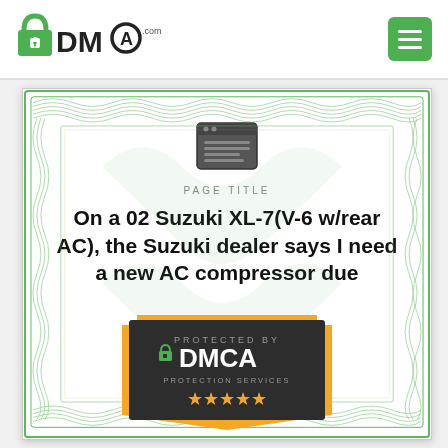[Figure (logo): DMCA.com logo with padlock icon in green]
[Figure (other): Hamburger menu button (three horizontal white lines on green rounded rectangle background)]
[Figure (illustration): Certificate with green guilloche decorative border pattern]
[Figure (other): Browser/page icon at top center of certificate]
PAGE TITLE
On a 02 Suzuki XL-7(V-6 w/rear AC), the Suzuki dealer says I need a new AC compressor due
[Figure (logo): DMCA Protection Services badge: dark shield with orange border, text PROTECTED BY DMCA PROTECTION SERVICES with lock icon, and gold stars at bottom]